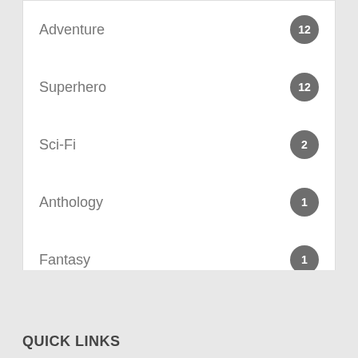Adventure 12
Superhero 12
Sci-Fi 2
Anthology 1
Fantasy 1
Leading Ladies 1
Movies & TV 1
Mythology 1
QUICK LINKS